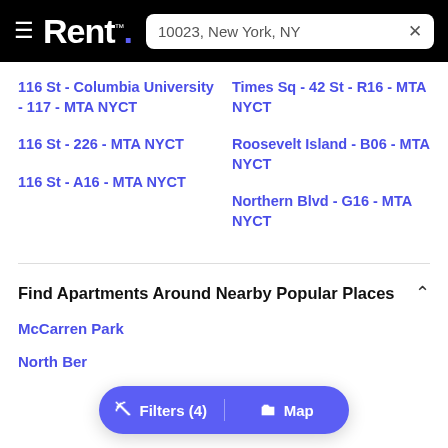Rent. — 10023, New York, NY
116 St - Columbia University - 117 - MTA NYCT
Times Sq - 42 St - R16 - MTA NYCT
116 St - 226 - MTA NYCT
Roosevelt Island - B06 - MTA NYCT
116 St - A16 - MTA NYCT
Northern Blvd - G16 - MTA NYCT
Find Apartments Around Nearby Popular Places
McCarren Park
North Ber…